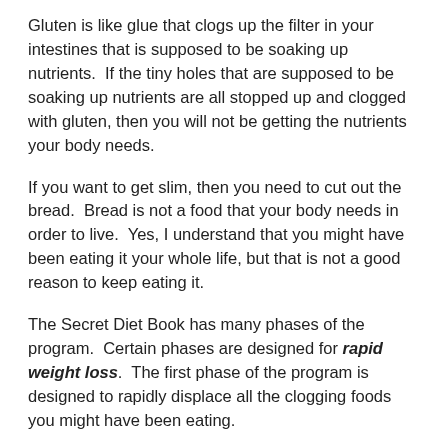Gluten is like glue that clogs up the filter in your intestines that is supposed to be soaking up nutrients.  If the tiny holes that are supposed to be soaking up nutrients are all stopped up and clogged with gluten, then you will not be getting the nutrients your body needs.
If you want to get slim, then you need to cut out the bread.  Bread is not a food that your body needs in order to live.  Yes, I understand that you might have been eating it your whole life, but that is not a good reason to keep eating it.
The Secret Diet Book has many phases of the program.  Certain phases are designed for rapid weight loss.  The first phase of the program is designed to rapidly displace all the clogging foods you might have been eating.
Just about any person that has been eating the standard american diet, will usually lose about 20 to 30 pounds of “Stuck Food” in about one month.